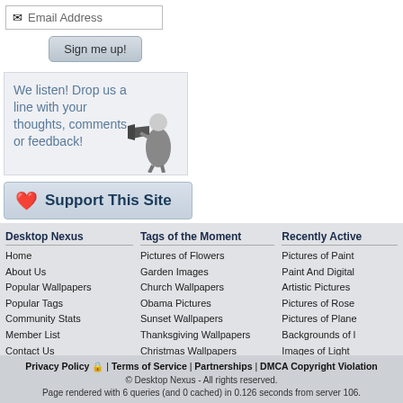[Figure (screenshot): Email address input box with envelope icon and text 'Email Address']
[Figure (screenshot): Sign me up! button with grey gradient styling]
We listen! Drop us a line with your thoughts, comments, or feedback!
[Figure (illustration): Black and white illustration of a man shouting through a megaphone]
[Figure (screenshot): Support This Site button with heart icon]
Desktop Nexus
Home
About Us
Popular Wallpapers
Popular Tags
Community Stats
Member List
Contact Us
Tags of the Moment
Pictures of Flowers
Garden Images
Church Wallpapers
Obama Pictures
Sunset Wallpapers
Thanksgiving Wallpapers
Christmas Wallpapers
Recently Active
Pictures of Paint
Paint And Digital
Artistic Pictures
Pictures of Rose
Pictures of Plane
Backgrounds of l
Images of Light
Privacy Policy | Terms of Service | Partnerships | DMCA Copyright Violation
© Desktop Nexus - All rights reserved.
Page rendered with 6 queries (and 0 cached) in 0.126 seconds from server 106.